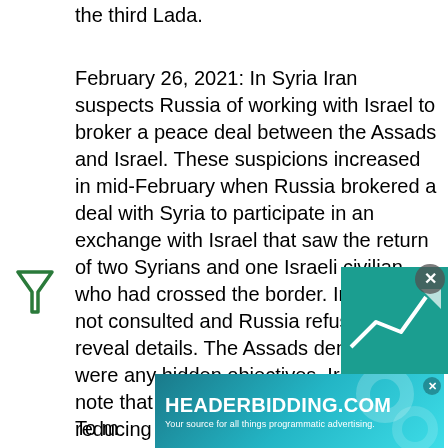the third Lada.
February 26, 2021: In Syria Iran suspects Russia of working with Israel to broker a peace deal between the Assads and Israel. These suspicions increased in mid-February when Russia brokered a deal with Syria to participate in an exchange with Israel that saw the return of two Syrians and one Israeli civilian who had crossed the border. Iran was not consulted and Russia refused to reveal details. The Assads deny there were any hidden objectives. Iran did note that the deal also involved Israel reducing the prison sentence for a pro-Syrian Arab. And there were rumors that Israel would also help Syria obtain covid19 vaccine and so on. Rumors are rumors but the strains in Iran-Syria relations is real.
To m
[Figure (other): Advertisement banner for HEADERBIDDING.COM with tagline 'Your source for all things programmatic advertising.' Also shows a teal box with a line chart icon and a close button.]